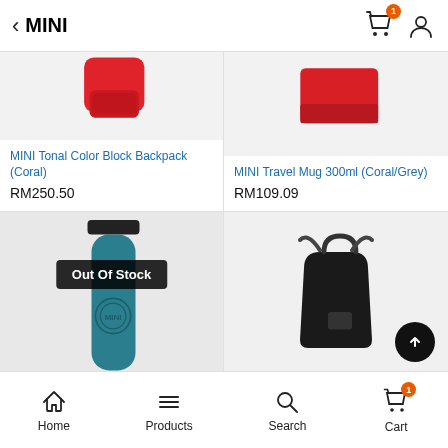MINI
[Figure (photo): Red MINI Tonal Color Block Backpack (Coral) product image on light grey background]
MINI Tonal Color Block Backpack (Coral)
RM250.50
[Figure (photo): Red MINI Travel Mug 300ml (Coral/Grey) product image on light grey background]
MINI Travel Mug 300ml (Coral/Grey)
RM109.09
[Figure (photo): Teal blue MINI branded travel mug/thermos with Out Of Stock badge overlay]
Out Of Stock
[Figure (photo): Black MINI branded tote bag product image on light grey background]
Home  Products  Search  Cart